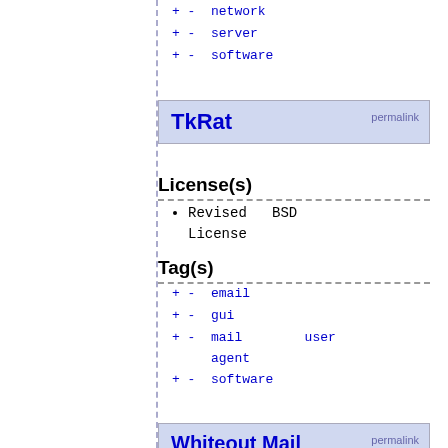+ -  network
+ -  server
+ -  software
TkRat  permalink
License(s)
Revised BSD License
Tag(s)
+ -  email
+ -  gui
+ -  mail   user agent
+ -  software
Whiteout Mail  permalink